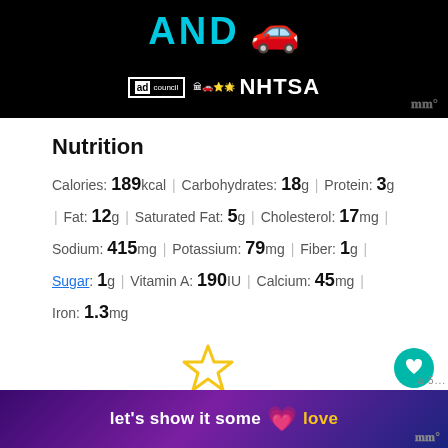[Figure (photo): Advertisement banner with black background showing 'AND' text in cyan, a red car emoji, and ad council/NHTSA logos]
Nutrition
Calories: 189kcal | Carbohydrates: 18g | Protein: 3g | Fat: 12g | Saturated Fat: 5g | Cholesterol: 17mg | Sodium: 415mg | Potassium: 79mg | Fiber: 1g | Sugar: 1g | Vitamin A: 190IU | Calcium: 45mg | Iron: 1.3mg
[Figure (illustration): Gold/yellow star outline rating icon]
Tried this recipe?
Please take a moment to comment letting me
[Figure (photo): Bottom advertisement banner with purple gradient background showing 'let's show it some love' with a pink heart emoji]